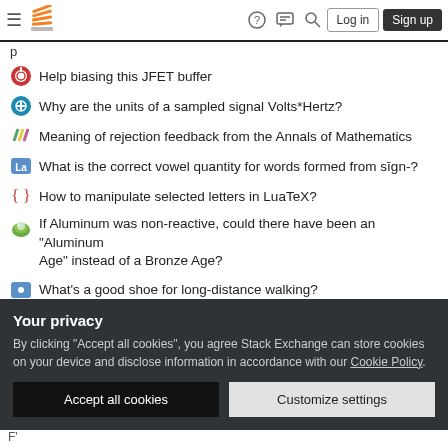Stack Exchange navigation bar with hamburger menu, logo, help, chat, search icons, Log in and Sign up buttons
Help biasing this JFET buffer
Why are the units of a sampled signal Volts*Hertz?
Meaning of rejection feedback from the Annals of Mathematics
What is the correct vowel quantity for words formed from sīgn-?
How to manipulate selected letters in LuaTeX?
If Aluminum was non-reactive, could there have been an "Aluminum Age" instead of a Bronze Age?
What's a good shoe for long-distance walking?
How to create a curved plastic material as a spray can lid
Your privacy
By clicking "Accept all cookies", you agree Stack Exchange can store cookies on your device and disclose information in accordance with our Cookie Policy.
Accept all cookies   Customize settings
F'